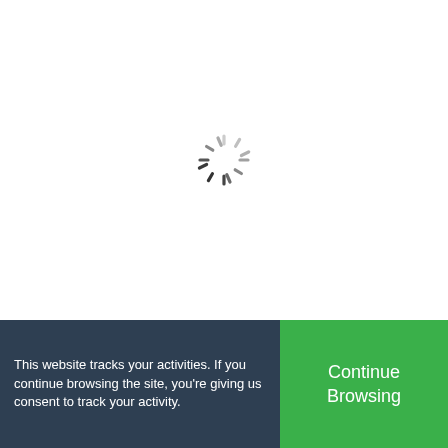[Figure (other): Loading spinner icon centered in the upper white area of the page]
This website tracks your activities. If you continue browsing the site, you're giving us consent to track your activity.
Continue Browsing